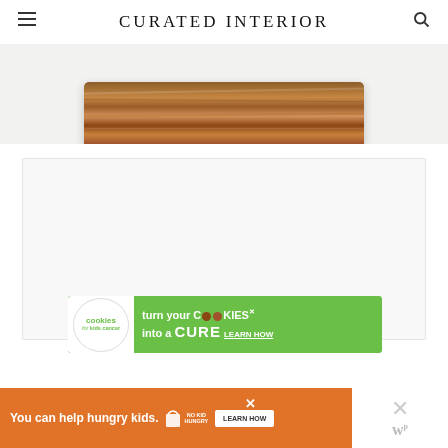CURATED INTERIOR
[Figure (photo): Top portion of a wooden plank or board with natural wood grain texture, warm brown tones, on a light gray background]
[Figure (infographic): Cookies for Kids Cancer advertisement banner: green background with white circle logo on left showing 'cookies for kids cancer' text, right side says 'turn your COOKIES into a CURE LEARN HOW']
[Figure (infographic): No Kid Hungry advertisement banner: orange background with text 'You can help hungry kids.' and No Kid Hungry logo, LEARN HOW button, with a close X button on the right side]